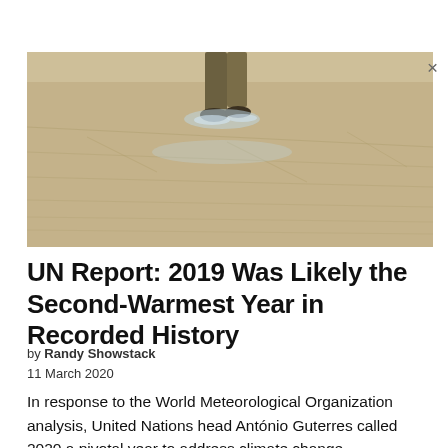[Figure (photo): A person walking through shallow floodwater on a dry, sandy or concrete surface, viewed from waist down. The surface shows parallel lines or cracks. The person appears to be wading through a thin layer of water.]
UN Report: 2019 Was Likely the Second-Warmest Year in Recorded History
by Randy Showstack
11 March 2020
In response to the World Meteorological Organization analysis, United Nations head António Guterres called 2020 a pivotal year to address climate change.